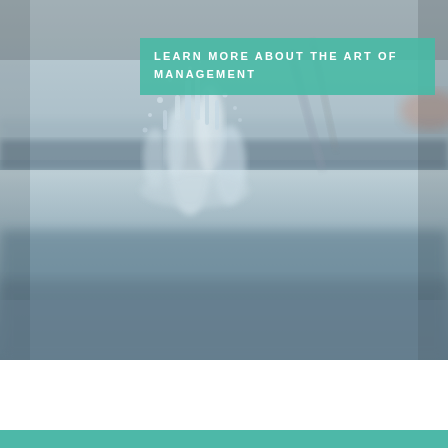[Figure (photo): Close-up photograph of water splashing on a surface, with a blurred blue-gray background. The water droplets and splash are in sharp focus in the upper portion, fading into a smooth gray-blue blur in the lower half.]
LEARN MORE ABOUT THE ART OF MANAGEMENT